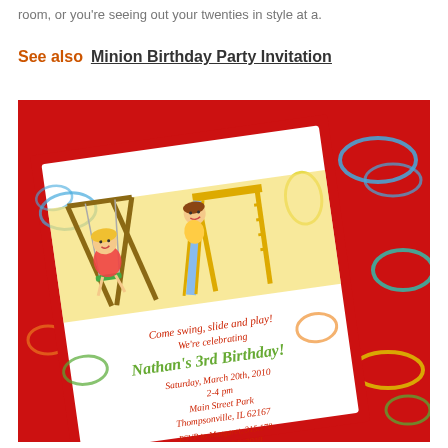room, or you're seeing out your twenties in style at a.
See also  Minion Birthday Party Invitation
[Figure (photo): Birthday party invitation card showing children playing on a swing and slide, with text: Come swing, slide and play! We're celebrating Nathan's 3rd Birthday! Saturday, March 20th, 2010, 2-4 pm, Main Street Park, Thompsonville, IL 62167, RSVP to Margaret, 315.178 by March 12th, 2010. Card has red border with colorful swirl decorations on a red background.]